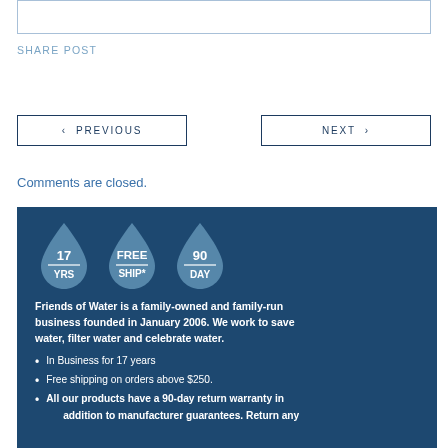SHARE POST
< PREVIOUS
NEXT >
Comments are closed.
[Figure (infographic): Three water drop icons showing: 17 YRS, FREE SHIP*, 90 DAY]
Friends of Water is a family-owned and family-run business founded in January 2006. We work to save water, filter water and celebrate water.
In Business for 17 years
Free shipping on orders above $250.
All our products have a 90-day return warranty in addition to manufacturer guarantees. Return any